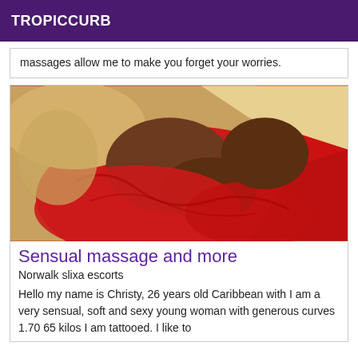TROPICCURB
massages allow me to make you forget your worries.
[Figure (photo): Close-up photo of a person wearing a red outfit, with warm-toned background.]
Sensual massage and more
Norwalk slixa escorts
Hello my name is Christy, 26 years old Caribbean with I am a very sensual, soft and sexy young woman with generous curves 1.70 65 kilos I am tattooed. I like to